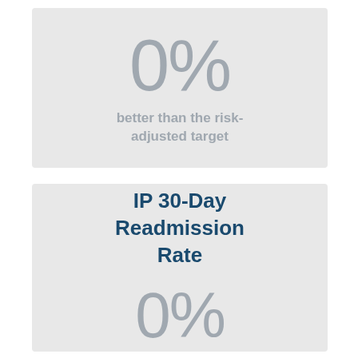0%
better than the risk-adjusted target
IP 30-Day Readmission Rate
0%